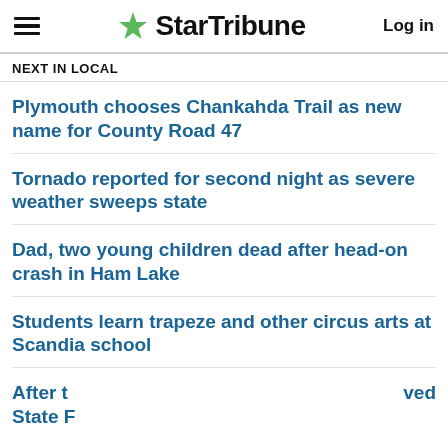StarTribune  Log in
NEXT IN LOCAL
Plymouth chooses Chankahda Trail as new name for County Road 47
Tornado reported for second night as severe weather sweeps state
Dad, two young children dead after head-on crash in Ham Lake
Students learn trapeze and other circus arts at Scandia school
After t  ved
State F